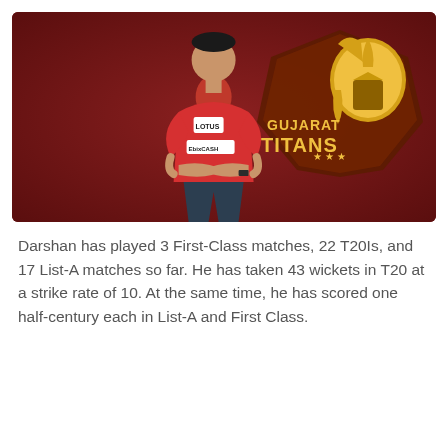[Figure (photo): Cricket player in red Punjab Kings jersey with arms crossed, standing in front of a dark red background with Gujarat Titans logo (golden spartan helmet on shield with stars) visible to the right.]
Darshan has played 3 First-Class matches, 22 T20Is, and 17 List-A matches so far. He has taken 43 wickets in T20 at a strike rate of 10. At the same time, he has scored one half-century each in List-A and First Class.